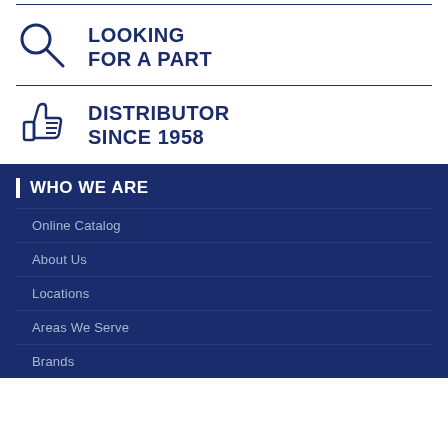[Figure (illustration): Magnifying glass icon (search icon) in dark blue outline style]
LOOKING FOR A PART
[Figure (illustration): Thumbs up icon in dark blue outline style]
DISTRIBUTOR SINCE 1958
WHO WE ARE
Online Catalog
About Us
Locations
Areas We Serve
Brands